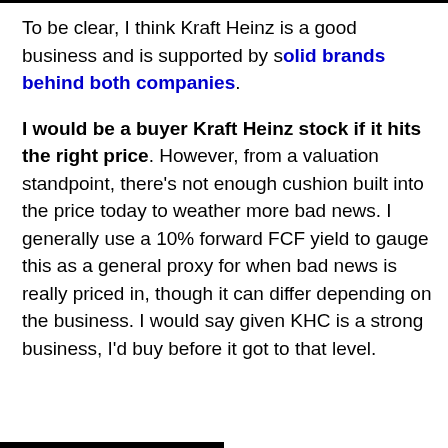To be clear, I think Kraft Heinz is a good business and is supported by solid brands behind both companies.
I would be a buyer Kraft Heinz stock if it hits the right price. However, from a valuation standpoint, there's not enough cushion built into the price today to weather more bad news. I generally use a 10% forward FCF yield to gauge this as a general proxy for when bad news is really priced in, though it can differ depending on the business. I would say given KHC is a strong business, I'd buy before it got to that level.